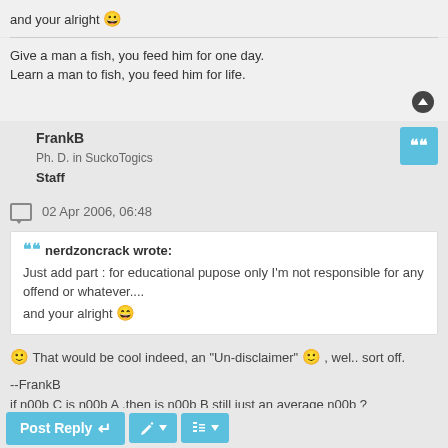and your alright 😀
Give a man a fish, you feed him for one day.
Learn a man to fish, you feed him for life.
FrankB
Ph. D. in SuckoTogics
Staff
02 Apr 2006, 06:48
nerdzoncrack wrote:
Just add part : for educational pupose only I'm not responsible for any offend or whatever....
and your alright 😄
😊 That would be cool indeed, an "Un-disclaimer" 😊 , wel.. sort off.

--FrankB
if n00b C is n00b A ,then is n00b B still just an average n00b ?